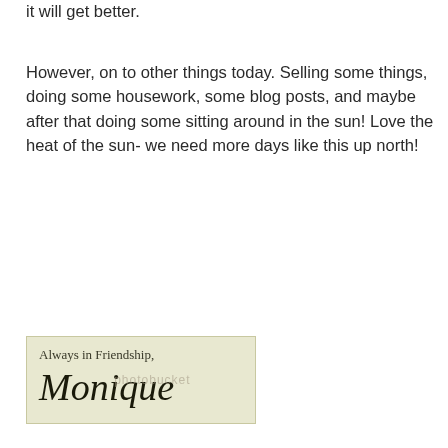it will get better.
However, on to other things today. Selling some things, doing some housework, some blog posts, and maybe after that doing some sitting around in the sun! Love the heat of the sun- we need more days like this up north!
[Figure (illustration): Signature card with light yellow-green background. Text reads 'Always in Friendship,' followed by a cursive handwritten signature 'Monique'. A Photobucket watermark is overlaid on the image.]